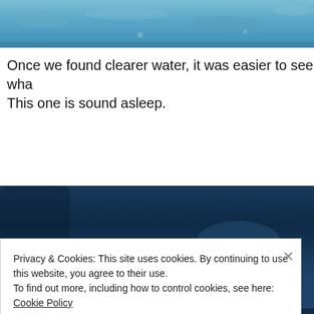[Figure (photo): Top portion of underwater/water surface photo showing blue murky water]
Once we found clearer water, it was easier to see wha This one is sound asleep.
[Figure (photo): Underwater photo showing dark blue water with rocks and sediment on the bottom]
Privacy & Cookies: This site uses cookies. By continuing to use this website, you agree to their use.
To find out more, including how to control cookies, see here: Cookie Policy
Close and accept